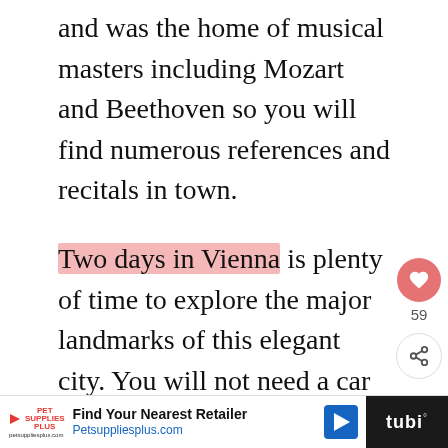and was the home of musical masters including Mozart and Beethoven so you will find numerous references and recitals in town.
Two days in Vienna is plenty of time to explore the major landmarks of this elegant city. You will not need a car for these two days as it's easier to get around the city via public transport and walking so you can pick up your rental car after your two days in Vienna are over.
Find Your Nearest Retailer Petsuppliesplus.com